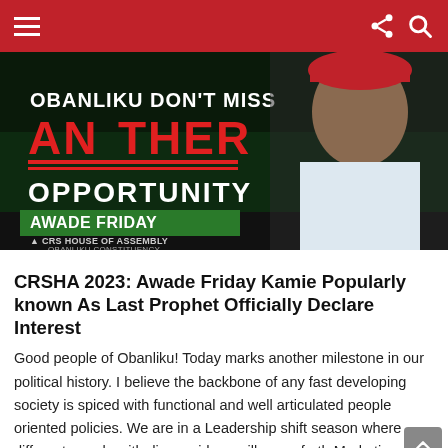Navigation bar with hamburger menu and share/search icons
[Figure (photo): Campaign promotional image for Awade Friday, CRS House of Assembly, Obanliku Constituency. Dark background with text: OBANLIKU DON'T MISS ANOTHER OPPORTUNITY, AWADE FRIDAY, CRS HOUSE OF ASSEMBLY OBANLIKU CONSTITUENCY. Man in white attire and red hat on right side.]
CRSHA 2023: Awade Friday Kamie Popularly known As Last Prophet Officially Declare Interest
Good people of Obanliku! Today marks another milestone in our political history. I believe the backbone of any fast developing society is spiced with functional and well articulated people oriented policies. We are in a Leadership shift season where different people with diverse ideas will come forth Marketing